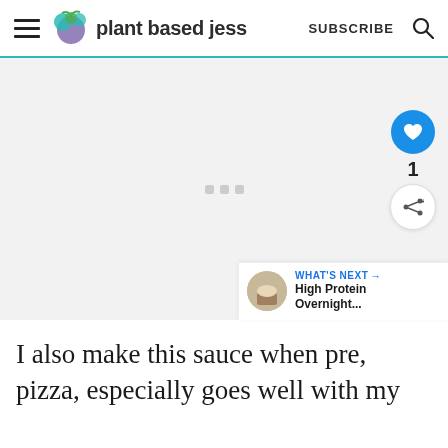plant based jess  SUBSCRIBE
[Figure (other): Advertisement placeholder area with three gray dots in the center]
I also make this sauce when pre, pizza, especially goes well with my
WHAT'S NEXT → High Protein Overnight...